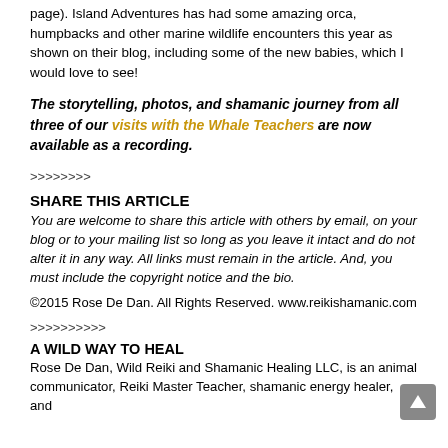page). Island Adventures has had some amazing orca, humpbacks and other marine wildlife encounters this year as shown on their blog, including some of the new babies, which I would love to see!
The storytelling, photos, and shamanic journey from all three of our visits with the Whale Teachers are now available as a recording.
>>>>>>>>
SHARE THIS ARTICLE
You are welcome to share this article with others by email, on your blog or to your mailing list so long as you leave it intact and do not alter it in any way. All links must remain in the article. And, you must include the copyright notice and the bio.
©2015 Rose De Dan. All Rights Reserved. www.reikishamanic.com
>>>>>>>>>>
A WILD WAY TO HEAL
Rose De Dan, Wild Reiki and Shamanic Healing LLC, is an animal communicator, Reiki Master Teacher, shamanic energy healer, and